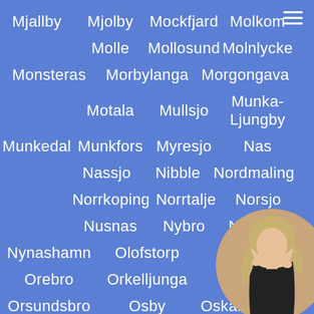Mjallby  Mjolby  Mockfjard  Molkom
Molle  Mollosund  Molnlycke
Monsteras  Morbylanga  Morgongava
Motala  Mullsjo  Munka-Ljungby
Munkedal  Munkfors  Myresjo  Nas
Nassjo  Nibble  Nordmaling
Norrkoping  Norrtalje  Norsjo
Nusnas  Nybro  Nykvarn
Nynashamn  Olofstorp  O...
Orebro  Orkelljunga  Orrefor...
Orsundsbro  Osby  Oskarshamn
[Figure (photo): Circular profile photo of a person with blonde curly hair, partially obscuring some text on the right side of the page]